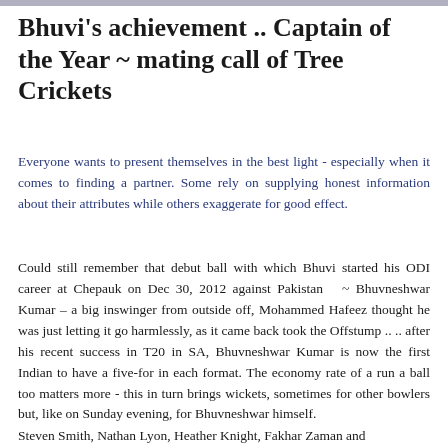Bhuvi's achievement .. Captain of the Year ~ mating call of Tree Crickets
Everyone wants to present themselves in the best light - especially when it comes to finding a partner. Some rely on supplying honest information about their attributes while others exaggerate for good effect.
Could still remember that debut ball with which Bhuvi started his ODI career at Chepauk on Dec 30, 2012 against Pakistan ~ Bhuvneshwar Kumar – a big inswinger from outside off, Mohammed Hafeez thought he was just letting it go harmlessly, as it came back took the Offstump .. .. after his recent success in T20 in SA, Bhuvneshwar Kumar is now the first Indian to have a five-for in each format. The economy rate of a run a ball too matters more - this in turn brings wickets, sometimes for other bowlers but, like on Sunday evening, for Bhuvneshwar himself.
Steven Smith, Nathan Lyon, Heather Knight, Fakhar Zaman and